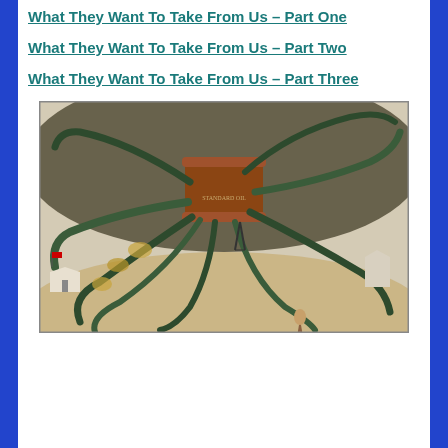What They Want To Take From Us – Part One
What They Want To Take From Us – Part Two
What They Want To Take From Us – Part Three
[Figure (illustration): Historical political cartoon/illustration of an octopus (representing Standard Oil or corporate monopoly) with tentacles wrapped around various buildings and institutions, including the White House and a state capitol, symbolizing corporate control over government and society.]